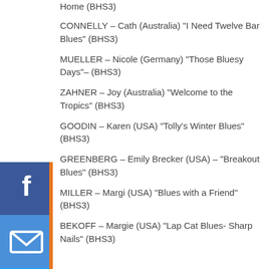Home (BHS3)
CONNELLY – Cath (Australia) “I Need Twelve Bar Blues” (BHS3)
MUELLER – Nicole (Germany) “Those Bluesy Days”– (BHS3)
ZAHNER – Joy (Australia) “Welcome to the Tropics” (BHS3)
GOODIN – Karen (USA) “Tolly’s Winter Blues” (BHS3)
GREENBERG – Emily Brecker (USA) – “Breakout Blues” (BHS3)
MILLER – Margi (USA) “Blues with a Friend” (BHS3)
BEKOFF – Margie (USA) “Lap Cat Blues- Sharp Nails” (BHS3)
[Figure (infographic): Social share buttons: Facebook (blue), Email (blue), Twitter (blue), LinkedIn (blue), Pinterest (red)]